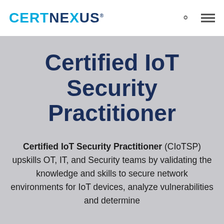CertNexus
Certified IoT Security Practitioner
Certified IoT Security Practitioner (CIoTSP) upskills OT, IT, and Security teams by validating the knowledge and skills to secure network environments for IoT devices, analyze vulnerabilities and determine